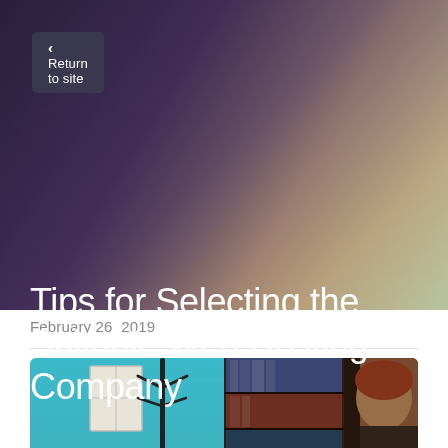Return to site
Tips for Selecting the Suitable Web Hosting Company
February 26, 2019
[Figure (photo): Office scene showing a young blonde woman sitting at a table against a teal/blue wall with framed papers, a coat rack, and a plant visible on the left; on the right, a red-haired man is seen near a dark bookshelf filled with books.]
CREATE A SITE WITH strikingly